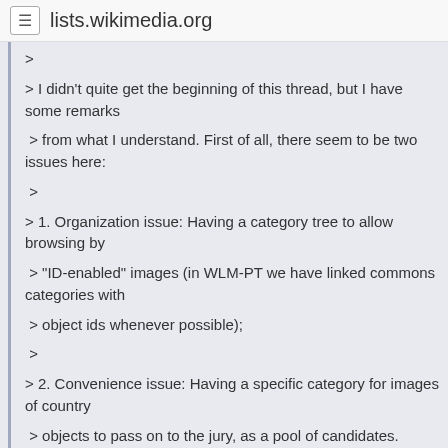lists.wikimedia.org
> 
> I didn't quite get the beginning of this thread, but I have some remarks
 > from what I understand. First of all, there seem to be two issues here:
 >
 > 1. Organization issue: Having a category tree to allow browsing by
 > "ID-enabled" images (in WLM-PT we have linked commons categories with
 > object ids whenever possible);
 >
 > 2. Convenience issue: Having a specific category for images of country
 > objects to pass on to the jury, as a pool of candidates.
 >
 > Jane, the unfortunate part is that I've been removing the {{IGESPAR}}
 > template from all images I've found whenever there is a